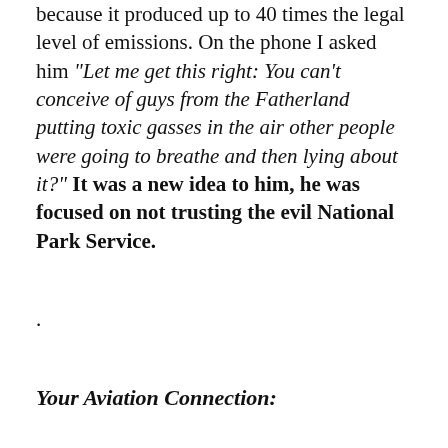because it produced up to 40 times the legal level of emissions. On the phone I asked him “Let me get this right: You can’t conceive of guys from the Fatherland putting toxic gasses in the air other people were going to breathe and then lying about it?” It was a new idea to him, he was focused on not trusting the evil National Park Service.
.
Your Aviation Connection:
The Homebuilt aircraft in your shop will be trustworthy because you know the ‘corporation’ that is putting it together, and (the shortened version) you should be